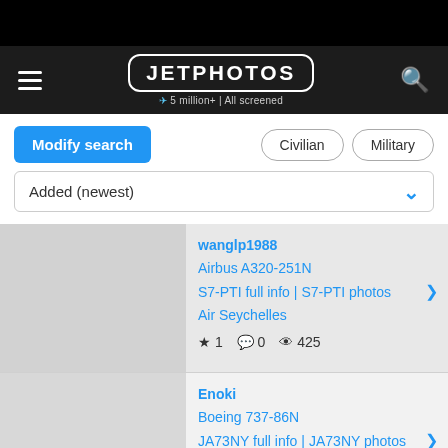JETPHOTOS — 5 million+ | All screened
Modify search | Civilian | Military
Added (newest)
wanglp1988
Airbus A320-251N
S7-PTI full info | S7-PTI photos
Air Seychelles
★ 1  💬 0  👁 425
Enoki
Boeing 737-86N
JA73NY full info | JA73NY photos
Skymark Airlines
★ 3  💬 0  👁 325